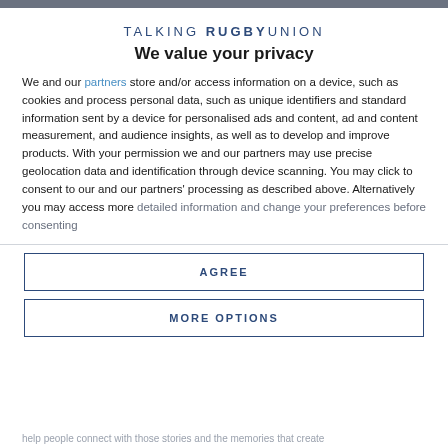[Figure (logo): Talking Rugby Union logo — uppercase sans-serif text with RUGBY in bold]
We value your privacy
We and our partners store and/or access information on a device, such as cookies and process personal data, such as unique identifiers and standard information sent by a device for personalised ads and content, ad and content measurement, and audience insights, as well as to develop and improve products. With your permission we and our partners may use precise geolocation data and identification through device scanning. You may click to consent to our and our partners' processing as described above. Alternatively you may access more detailed information and change your preferences before consenting
AGREE
MORE OPTIONS
help people connect with those stories and the memories that create